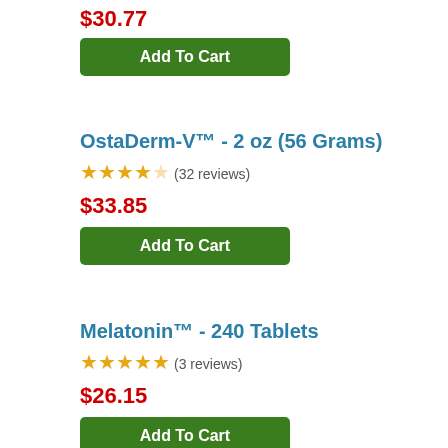$30.77
Add To Cart
OstaDerm-V™ - 2 oz (56 Grams)
★★★★☆ (32 reviews)
$33.85
Add To Cart
Melatonin™ - 240 Tablets
★★★★★ (3 reviews)
$26.15
Add To Cart